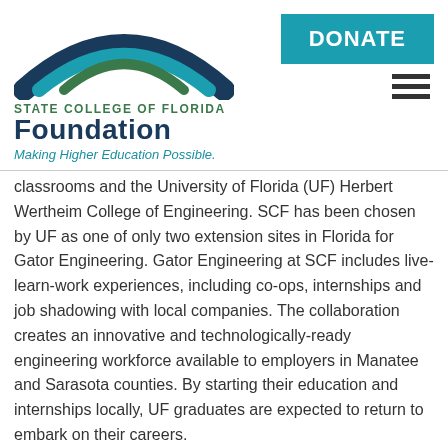[Figure (logo): State College of Florida Foundation logo with arc design in navy and teal/green, text 'STATE COLLEGE OF FLORIDA FOUNDATION Making Higher Education Possible.']
DONATE
classrooms and the University of Florida (UF) Herbert Wertheim College of Engineering. SCF has been chosen by UF as one of only two extension sites in Florida for Gator Engineering. Gator Engineering at SCF includes live-learn-work experiences, including co-ops, internships and job shadowing with local companies. The collaboration creates an innovative and technologically-ready engineering workforce available to employers in Manatee and Sarasota counties. By starting their education and internships locally, UF graduates are expected to return to embark on their careers.